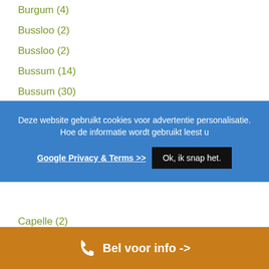Burgum (4)
Bussloo (2)
Bussloo (2)
Bussum (14)
Bussum (30)
Cadier en Keer (1)
Deze website gebruikt cookies voor advertentie personalisatie. Hoe de informatie wordt gebruikt leest u
Google Privacy & Terms >>
Ok, ik snap het.
Capelle (2)
Capelle aan den IJssel (35)
Capelle aan den IJssel (1)
Castenray (2)
Bel voor info ->